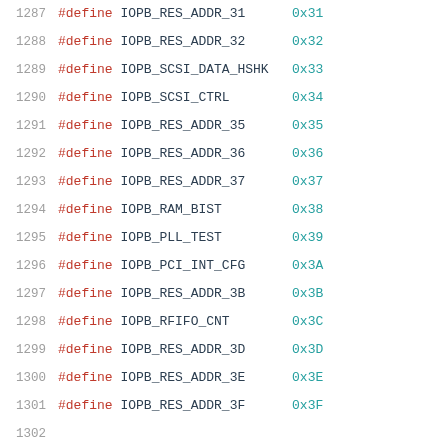1287  #define IOPB_RES_ADDR_31   0x31
1288  #define IOPB_RES_ADDR_32   0x32
1289  #define IOPB_SCSI_DATA_HSHK  0x33
1290  #define IOPB_SCSI_CTRL   0x34
1291  #define IOPB_RES_ADDR_35   0x35
1292  #define IOPB_RES_ADDR_36   0x36
1293  #define IOPB_RES_ADDR_37   0x37
1294  #define IOPB_RAM_BIST   0x38
1295  #define IOPB_PLL_TEST   0x39
1296  #define IOPB_PCI_INT_CFG  0x3A
1297  #define IOPB_RES_ADDR_3B  0x3B
1298  #define IOPB_RFIFO_CNT   0x3C
1299  #define IOPB_RES_ADDR_3D  0x3D
1300  #define IOPB_RES_ADDR_3E  0x3E
1301  #define IOPB_RES_ADDR_3F  0x3F
1302
1303  /*
1304   * Word I/O register address from base of 'iop
1305   */
1306  #define IOPW_CHIP_ID_0   0x00  /* CID
1307  #define IOPW_CTRL_REG   0x02  /* CC